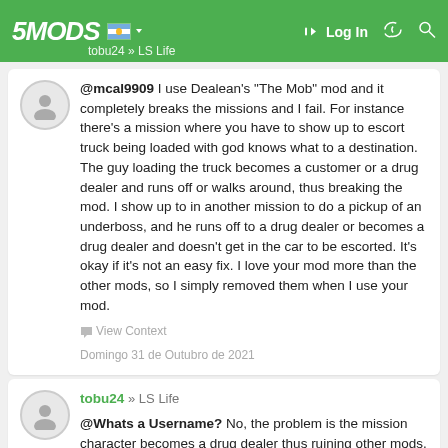5MODS | Log In | tobu24 » LS Life
@mcal9909 I use Dealean's "The Mob" mod and it completely breaks the missions and I fail. For instance there's a mission where you have to show up to escort truck being loaded with god knows what to a destination. The guy loading the truck becomes a customer or a drug dealer and runs off or walks around, thus breaking the mod. I show up to in another mission to do a pickup of an underboss, and he runs off to a drug dealer or becomes a drug dealer and doesn't get in the car to be escorted. It's okay if it's not an easy fix. I love your mod more than the other mods, so I simply removed them when I use your mod.
View Context
Domingo 31 de Outubro de 2021
tobu24 » LS Life
@Whats a Username? No, the problem is the mission character becomes a drug dealer thus ruining other mods. Say you're using "The Mob" mod and you're